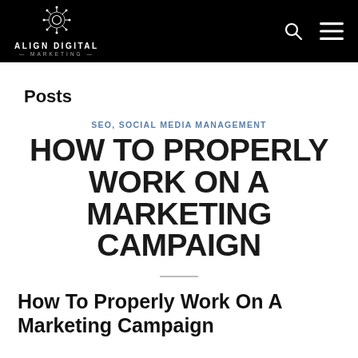ALIGN DIGITAL MARKETING
Posts
SEO, SOCIAL MEDIA MANAGEMENT
HOW TO PROPERLY WORK ON A MARKETING CAMPAIGN
How To Properly Work On A Marketing Campaign